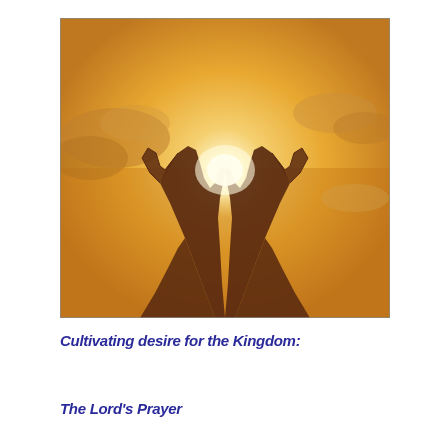[Figure (photo): Silhouette of two hands raised upward and open against a warm golden glowing sky with sunlight shining between the palms and dramatic clouds in the background]
Cultivating desire for the Kingdom:
The Lord's Prayer